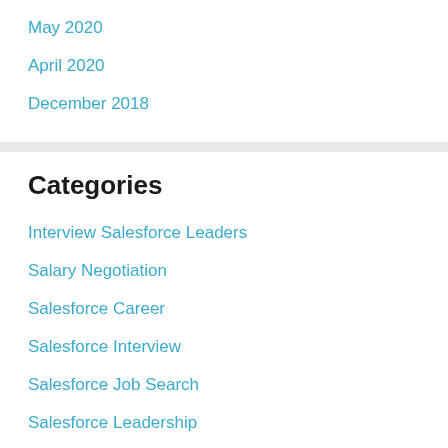May 2020
April 2020
December 2018
Categories
Interview Salesforce Leaders
Salary Negotiation
Salesforce Career
Salesforce Interview
Salesforce Job Search
Salesforce Leadership
Salesforce LinkedIn